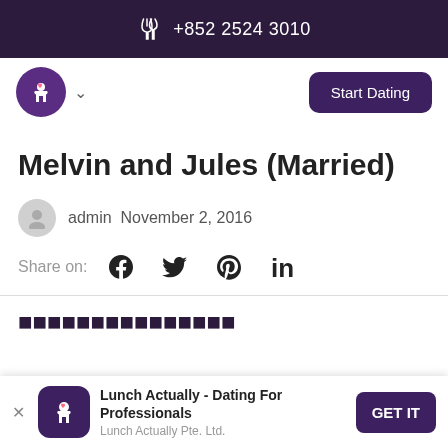+852 2524 3010
[Figure (logo): Lunch Actually fork and heart logo circle, with chevron dropdown and Start Dating button]
Melvin and Jules (Married)
admin  November 2, 2016
Share on:
Lunch Actually - Dating For Professionals
Lunch Actually Pte. Ltd.